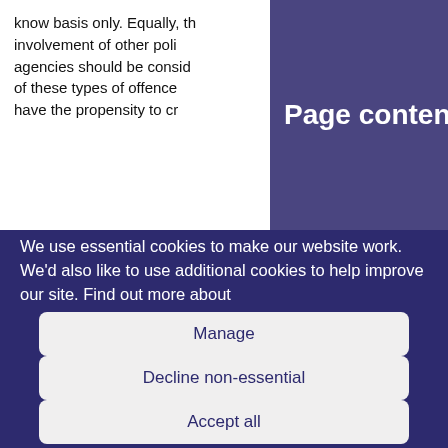know basis only. Equally, the involvement of other policing agencies should be considered of these types of offences have the propensity to cr
Page conten
We use essential cookies to make our website work. We'd also like to use additional cookies to help improve our site. Find out more about
Manage
Decline non-essential
Accept all